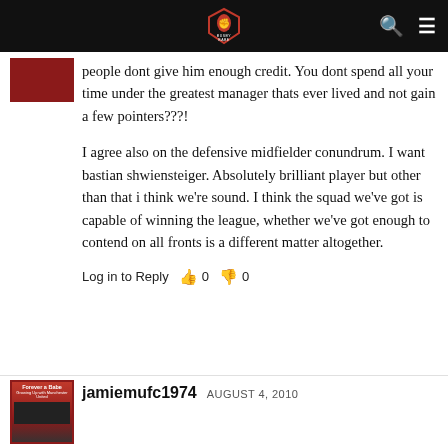[Figure (logo): Red devil fist logo on black header bar with search and menu icons]
people dont give him enough credit. You dont spend all your time under the greatest manager thats ever lived and not gain a few pointers???!

I agree also on the defensive midfielder conundrum. I want bastian shwiensteiger. Absolutely brilliant player but other than that i think we're sound. I think the squad we've got is capable of winning the league, whether we've got enough to contend on all fronts is a different matter altogether.
Log in to Reply  👍 0  👎 0
jamiemufc1974  AUGUST 4, 2010